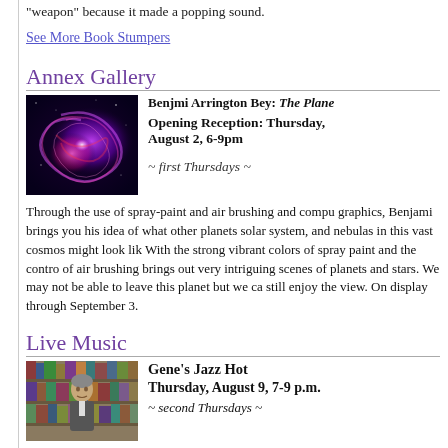"weapon" because it made a popping sound.
See More Book Stumpers
Annex Gallery
[Figure (photo): Purple and pink nebula/cosmic swirl artwork, digital painting with glowing colors on dark background]
Benjmi Arrington Bey:  The Plane Opening Reception:  Thursday, August 2, 6-9pm  ~ first Thursdays ~
Through the use of spray-paint and air brushing and compu graphics, Benjami brings you his idea of what other planets solar system, and nebulas in this vast cosmos might look lik With the strong vibrant colors of spray paint and the contro of air brushing brings out very intriguing scenes of planets and stars. We may not be able to leave this planet but we ca still enjoy the view.  On display through September 3.
Live Music
[Figure (photo): Black and white or muted photo of a man in front of bookshelves]
Gene's Jazz Hot Thursday, August 9, 7-9 p.m. ~ second Thursdays ~